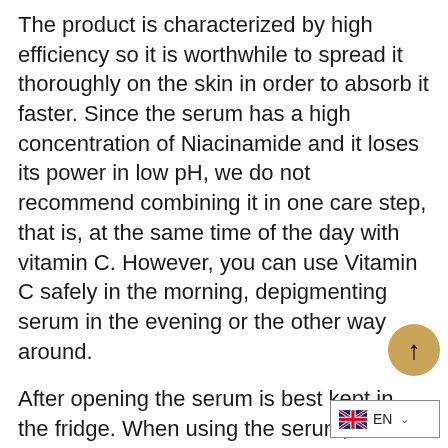The product is characterized by high efficiency so it is worthwhile to spread it thoroughly on the skin in order to absorb it faster. Since the serum has a high concentration of Niacinamide and it loses its power in low pH, we do not recommend combining it in one care step, that is, at the same time of the day with vitamin C. However, you can use Vitamin C safely in the morning, depigmenting serum in the evening or the other way around.
After opening the serum is best kept in the fridge. When using the serum, we recommend applying high SPF 50+ filters for the day. It should not be used by women who are breastfeeding or pregnant. Vegan product. The serum is excellent for layered acne and normal and mixed skincare, and as a base for